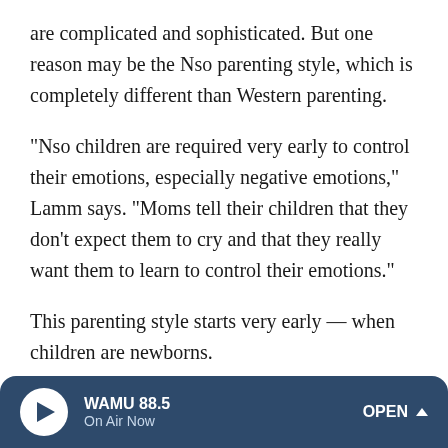are complicated and sophisticated. But one reason may be the Nso parenting style, which is completely different than Western parenting.
"Nso children are required very early to control their emotions, especially negative emotions," Lamm says. "Moms tell their children that they don't expect them to cry and that they really want them to learn to control their emotions."
This parenting style starts very early — when children are newborns.
"The moms breast-feed their babies before they start to cry so they don't need to express any negative emotion," Lamm
WAMU 88.5 On Air Now OPEN